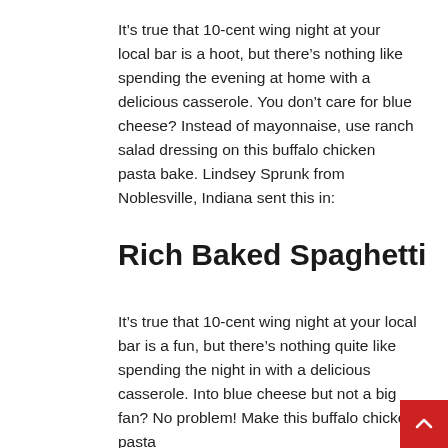It's true that 10-cent wing night at your local bar is a hoot, but there's nothing like spending the evening at home with a delicious casserole. You don't care for blue cheese? Instead of mayonnaise, use ranch salad dressing on this buffalo chicken pasta bake. Lindsey Sprunk from Noblesville, Indiana sent this in:
Rich Baked Spaghetti
It's true that 10-cent wing night at your local bar is a fun, but there's nothing quite like spending the night in with a delicious casserole. Into blue cheese but not a big fan? No problem! Make this buffalo chicken pasta